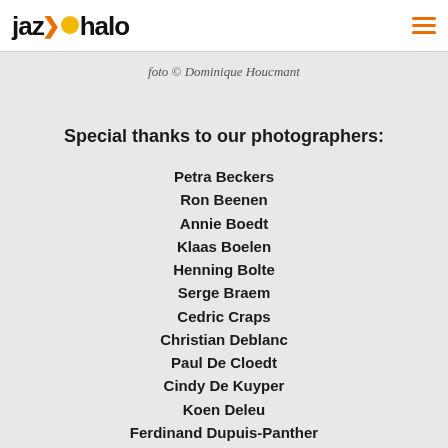jazzhalo
foto © Dominique Houcmant
Special thanks to our photographers:
Petra Beckers
Ron Beenen
Annie Boedt
Klaas Boelen
Henning Bolte
Serge Braem
Cedric Craps
Christian Deblanc
Paul De Cloedt
Cindy De Kuyper
Koen Deleu
Ferdinand Dupuis-Panther